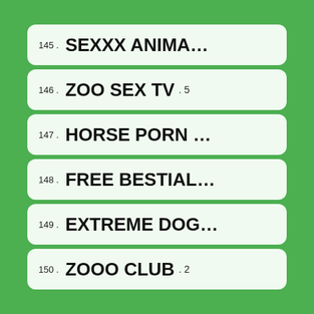145 . SEXXX ANIMA...
146 . ZOO SEX TV . 5
147 . HORSE PORN ...
148 . FREE BESTIAL...
149 . EXTREME DOG...
150 . ZOOO CLUB . 2